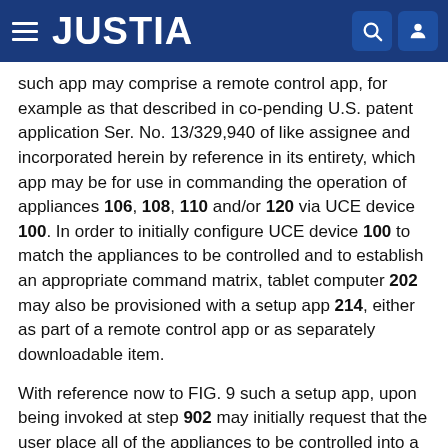JUSTIA
such app may comprise a remote control app, for example as that described in co-pending U.S. patent application Ser. No. 13/329,940 of like assignee and incorporated herein by reference in its entirety, which app may be for use in commanding the operation of appliances 106, 108, 110 and/or 120 via UCE device 100. In order to initially configure UCE device 100 to match the appliances to be controlled and to establish an appropriate command matrix, tablet computer 202 may also be provisioned with a setup app 214, either as part of a remote control app or as separately downloadable item.
With reference now to FIG. 9 such a setup app, upon being invoked at step 902 may initially request that the user place all of the appliances to be controlled into a known state, e.g., powered on, in order to enable the